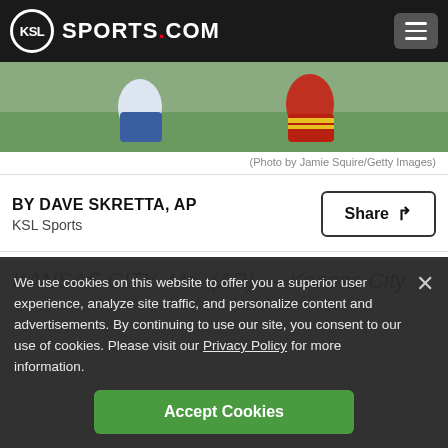KSL Sports.com
[Figure (photo): Sports action photo showing football players, one in white/blue uniform and one in red uniform, on a green field]
(Photo by Jamie Squire/Getty Images)
BY DAVE SKRETTA, AP
KSL Sports
KANSAS CITY, Mo. (AP) — Kansas City
We use cookies on this website to offer you a superior user experience, analyze site traffic, and personalize content and advertisements. By continuing to use our site, you consent to our use of cookies. Please visit our Privacy Policy for more information.